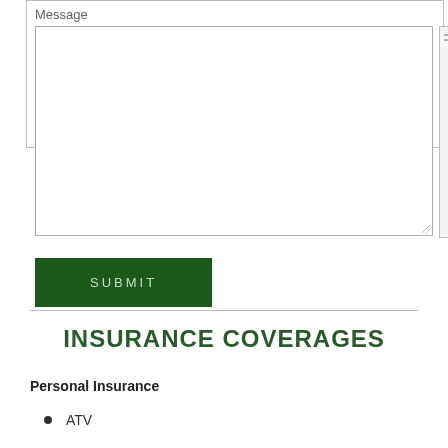Message
[Figure (other): Empty textarea form field with resize handle and scrollbar]
SUBMIT
INSURANCE COVERAGES
Personal Insurance
ATV